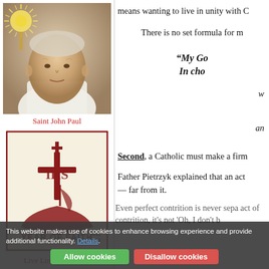[Figure (photo): Photo of Saint John Paul II with a monstrance/sunburst in the background]
Saint John Paul
[Figure (logo): Year of Faith 2012-2013 logo with red IHS cross and boat symbol on cream background with dark red border]
Live Link to Lourdes
means wanting to live in unity with C
There is no set formula for m
“My Go
In cho
w
an
Second, a Catholic must make a firm
Father Pietrzyk explained that an act — far from it.
Even perfect contrition is never sepa act of contrition, it’s not ‘Oh, I don’t b
This website makes use of cookies to enhance browsing experience and provide additional functionality. Details. Allow cookies Disallow cookies